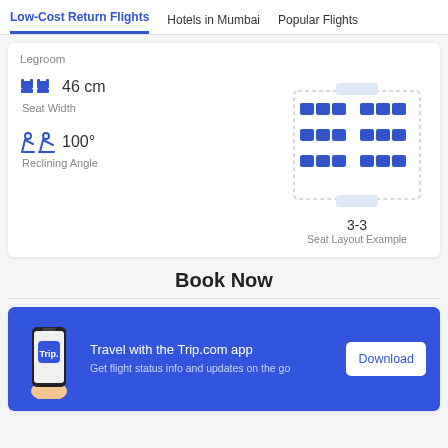Low-Cost Return Flights | Hotels in Mumbai | Popular Flights
Legroom
46 cm
Seat Width
100°
Reclining Angle
[Figure (illustration): Airplane seat layout diagram showing 3-3 configuration with blue seat icons in a cabin outline]
3-3
Seat Layout Example
Book Now
[Figure (infographic): Trip.com app promotion banner with phone illustration, Trip logo, and Download button]
Travel with the Trip.com app
Get flight status info and updates on the go